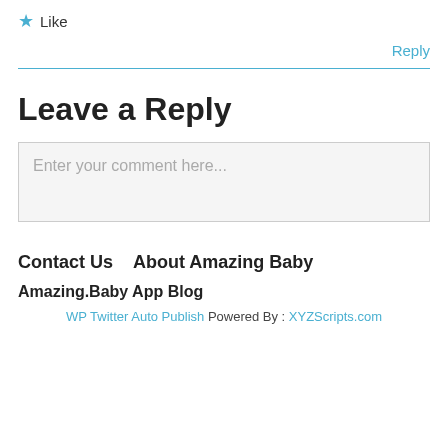★ Like
Reply
Leave a Reply
Enter your comment here...
Contact Us   About Amazing Baby
Amazing.Baby App Blog
WP Twitter Auto Publish Powered By : XYZScripts.com